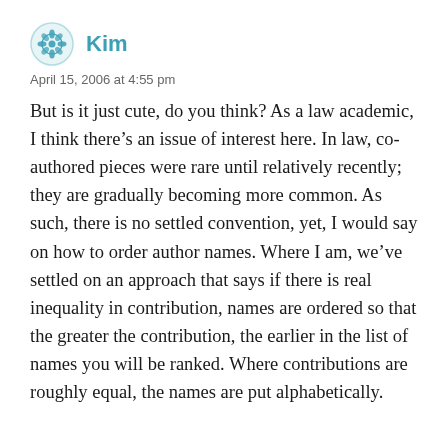Kim
April 15, 2006 at 4:55 pm
But is it just cute, do you think? As a law academic, I think there’s an issue of interest here. In law, co-authored pieces were rare until relatively recently; they are gradually becoming more common. As such, there is no settled convention, yet, I would say on how to order author names. Where I am, we’ve settled on an approach that says if there is real inequality in contribution, names are ordered so that the greater the contribution, the earlier in the list of names you will be ranked. Where contributions are roughly equal, the names are put alphabetically.